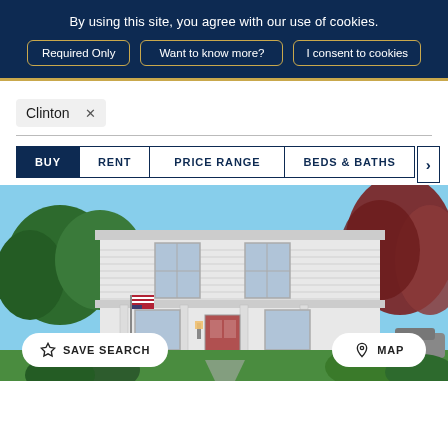By using this site, you agree with our use of cookies.
Required Only
Want to know more?
I consent to cookies
Clinton ×
BUY
RENT
PRICE RANGE
BEDS & BATHS
[Figure (photo): White two-story colonial house with front porch, American flag, red maple tree, green lawn, blue sky]
SAVE SEARCH
MAP